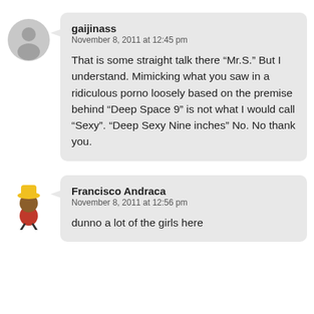[Figure (illustration): Gray circular avatar placeholder icon (person silhouette)]
gaijinass
November 8, 2011 at 12:45 pm

That is some straight talk there “Mr.S.” But I understand. Mimicking what you saw in a ridiculous porno loosely based on the premise behind “Deep Space 9” is not what I would call “Sexy”. “Deep Sexy Nine inches” No. No thank you.
[Figure (illustration): Cartoon character avatar: cartoon bee or mascot with yellow hat]
Francisco Andraca
November 8, 2011 at 12:56 pm

dunno a lot of the girls here